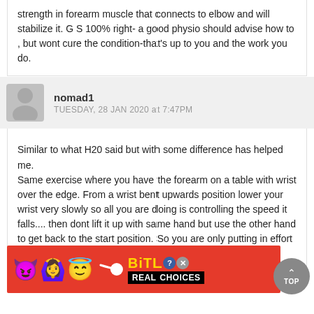strength in forearm muscle that connects to elbow and will stabilize it. G S 100% right- a good physio should advise how to , but wont cure the condition-that's up to you and the work you do.
nomad1
TUESDAY, 28 JAN 2020 at 7:47PM
Similar to what H20 said but with some difference has helped me.
Same exercise where you have the forearm on a table with wrist over the edge. From a wrist bent upwards position lower your wrist very slowly so all you are doing is controlling the speed it falls.... then dont lift it up with same hand but use the other hand to get back to the start position. So you are only putting in effort on the way dow...
This... t for r...
[Figure (screenshot): BitLife advertisement banner with emoji characters (devil, woman with hands up, angel emoji) on red background with BitLife logo and 'REAL CHOICES' text]